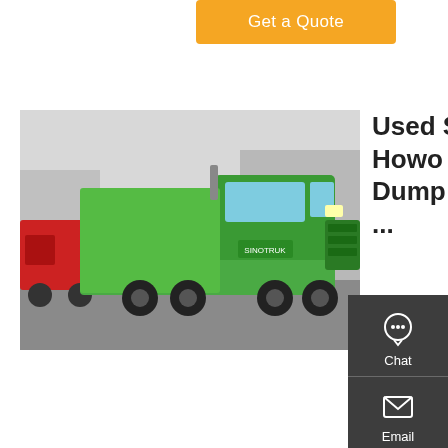Get a Quote
[Figure (photo): Green Howo dump tipper truck parked with red trucks in background]
Used Second Hand Howo 30 Tons 6x4 Dump Tipper Truck For ...
Used Second Hand Howo 30 Tons 6x4 Dump Tipper Truck For Sale, Find Complete Details about Used Second Hand Howo 30 Tons 6x4 Dump Tipper Truck For Sale,Howo Second Hand Dump Truck,Dump Truck 30 Tons,6*4 Tipper Truck from Dump Trucks Supplier